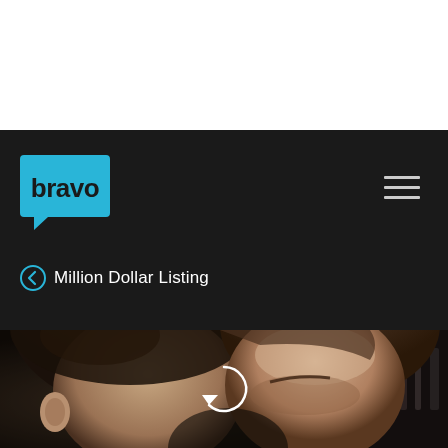[Figure (logo): Bravo TV network logo — cyan/turquoise speech bubble with 'bravo' text in dark lowercase letters]
[Figure (other): Hamburger menu icon — three horizontal lines in gray]
< Million Dollar Listing
[Figure (photo): Close-up photo of two men facing each other, dark bar/restaurant background, circular play button overlay in center]